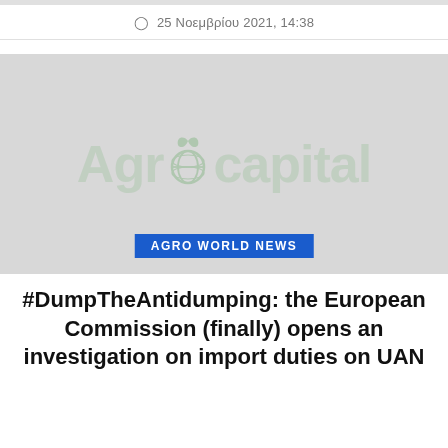25 Νοεμβρίου 2021, 14:38
[Figure (logo): Agrocapital logo watermark on grey background with category badge 'AGRO WORLD NEWS']
#DumpTheAntidumping: the European Commission (finally) opens an investigation on import duties on UAN